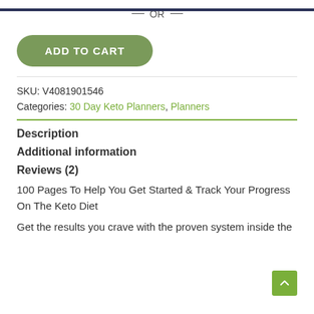— OR —
ADD TO CART
SKU: V4081901546
Categories: 30 Day Keto Planners, Planners
Description
Additional information
Reviews (2)
100 Pages To Help You Get Started & Track Your Progress On The Keto Diet
Get the results you crave with the proven system inside the